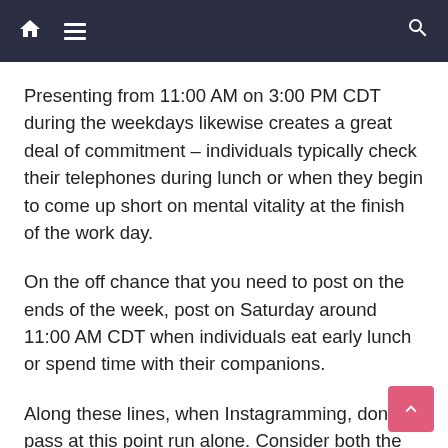Navigation bar with home icon, hamburger menu, and search icon
Presenting from 11:00 AM on 3:00 PM CDT during the weekdays likewise creates a great deal of commitment – individuals typically check their telephones during lunch or when they begin to come up short on mental vitality at the finish of the work day.
On the off chance that you need to post on the ends of the week, post on Saturday around 11:00 AM CDT when individuals eat early lunch or spend time with their companions.
Along these lines, when Instagramming, don't pass at this point run alone. Consider both the day of the week and the business you're in (we'll talk about the last in one moment).
Need some simple walking requests dependent on this information? Post to Instagram between 9:00 AM and 6:00 PM CDT from Tuesday to Friday. You'll get the most steady commitment that way. This is